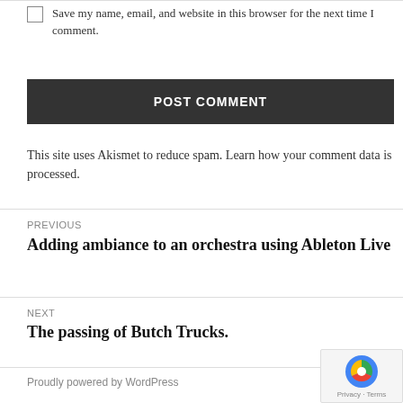Save my name, email, and website in this browser for the next time I comment.
POST COMMENT
This site uses Akismet to reduce spam. Learn how your comment data is processed.
PREVIOUS
Adding ambiance to an orchestra using Ableton Live
NEXT
The passing of Butch Trucks.
Proudly powered by WordPress